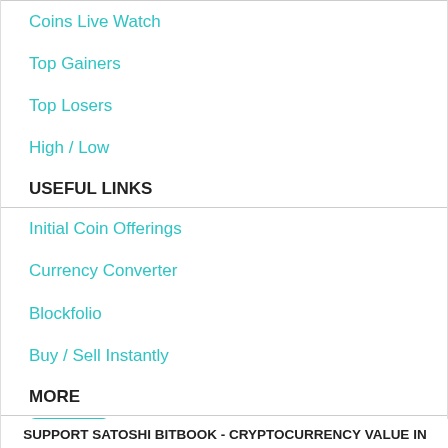Coins Live Watch
Top Gainers
Top Losers
High / Low
USEFUL LINKS
Initial Coin Offerings
Currency Converter
Blockfolio
Buy / Sell Instantly
MORE
Terms & Conditions
Privacy Policy
Contact Us
FAQs
SUPPORT SATOSHI BITBOOK - CRYPTOCURRENCY VALUE IN REAL TIME